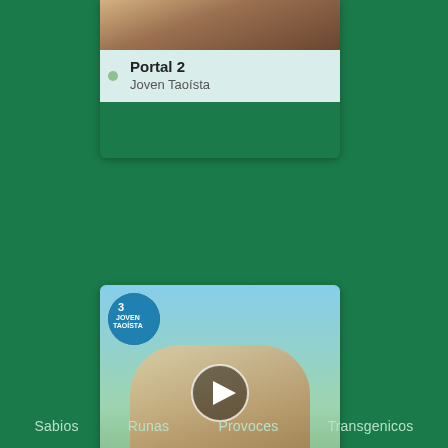[Figure (screenshot): Card showing Portal 2 video thumbnail - partial view at top]
Portal 2
Joven Taoísta
[Figure (screenshot): Card showing Portal 3 video thumbnail with play button and 0:00 / 0:00 timestamp, badge with number 3 and Joven Taoísta label]
Portal 3
Joven Taoísta
Sabios    Runas    Provoces    Transgenicos